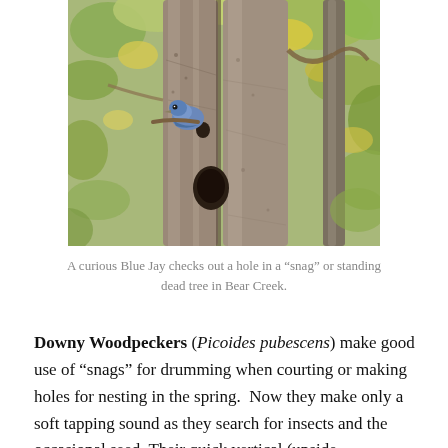[Figure (photo): A Blue Jay bird perched on a dead standing tree (snag) with holes in the bark, surrounded by autumn leaves in various shades of green and yellow.]
A curious Blue Jay checks out a hole in a “snag” or standing dead tree in Bear Creek.
Downy Woodpeckers (Picoides pubescens) make good use of “snags” for drumming when courting or making holes for nesting in the spring.  Now they make only a soft tapping sound as they search for insects and the occasional seed. Their quick vertical (upside